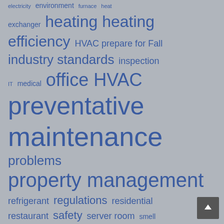[Figure (infographic): Tag/word cloud on grey background featuring HVAC and engineering-related terms in various sizes, all in blue/indigo color. Terms include: electricity, environment, furnace, heat exchanger, heating, heating efficiency, HVAC prepare for Fall, industry standards, inspection, IT, medical, office HVAC, preventative, maintenance, problems, property management, refrigerant, regulations, residential, restaurant, safety, server room, smell, space heater, technicans, technology, temperature, winter.]